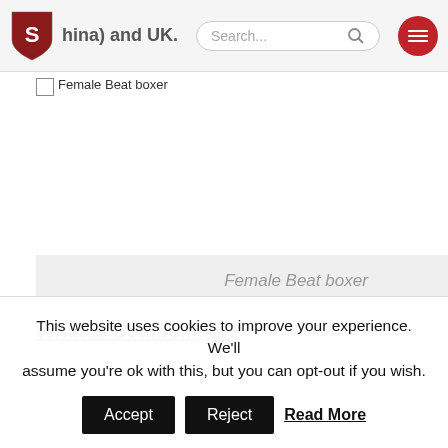china) and UK. Search...
[Figure (photo): Broken image placeholder labeled 'Female Beat boxer' with a grey caption box below showing 'Female Beat boxer' in italic text.]
Female Beat boxer
What is Beatboxing ?
This website uses cookies to improve your experience. We'll assume you're ok with this, but you can opt-out if you wish.